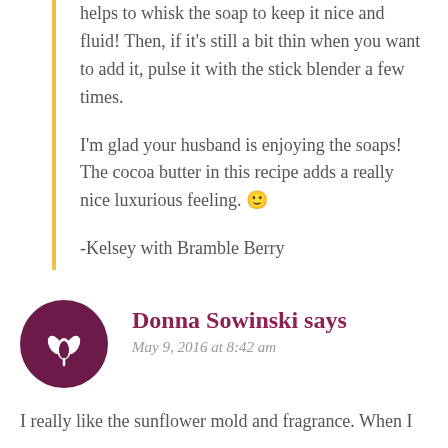helps to whisk the soap to keep it nice and fluid! Then, if it's still a bit thin when you want to add it, pulse it with the stick blender a few times.
I'm glad your husband is enjoying the soaps! The cocoa butter in this recipe adds a really nice luxurious feeling. 🙂
-Kelsey with Bramble Berry
Donna Sowinski says
May 9, 2016 at 8:42 am
I really like the sunflower mold and fragrance. When I